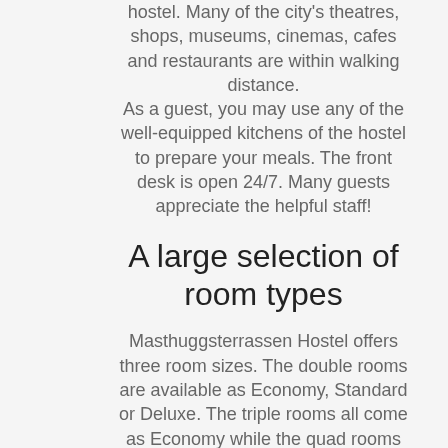hostel. Many of the city's theatres, shops, museums, cinemas, cafes and restaurants are within walking distance. As a guest, you may use any of the well-equipped kitchens of the hostel to prepare your meals. The front desk is open 24/7. Many guests appreciate the helpful staff!
A large selection of room types
Masthuggsterrassen Hostel offers three room sizes. The double rooms are available as Economy, Standard or Deluxe. The triple rooms all come as Economy while the quad rooms are available as Standard or Deluxe. All rooms are modern and